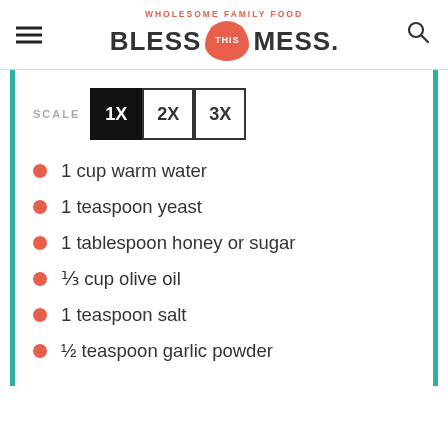WHOLESOME FAMILY FOOD / BLESS THIS MESS.
SCALE 1X 2X 3X
1 cup warm water
1 teaspoon yeast
1 tablespoon honey or sugar
⅓ cup olive oil
1 teaspoon salt
½ teaspoon garlic powder